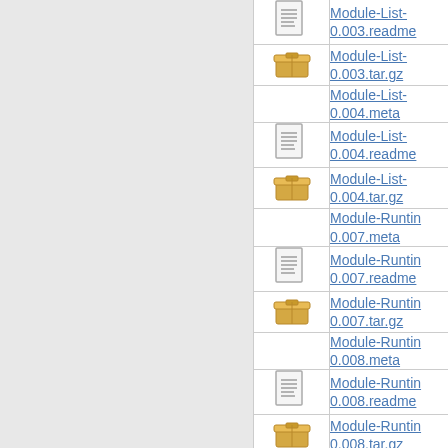| icon | filename |
| --- | --- |
| [doc] | Module-List-0.003.readme |
| [tar] | Module-List-0.003.tar.gz |
|  | Module-List-0.004.meta |
| [doc] | Module-List-0.004.readme |
| [tar] | Module-List-0.004.tar.gz |
|  | Module-Runtime-0.007.meta |
| [doc] | Module-Runtime-0.007.readme |
| [tar] | Module-Runtime-0.007.tar.gz |
|  | Module-Runtime-0.008.meta |
| [doc] | Module-Runtime-0.008.readme |
| [tar] | Module-Runtime-0.008.tar.gz |